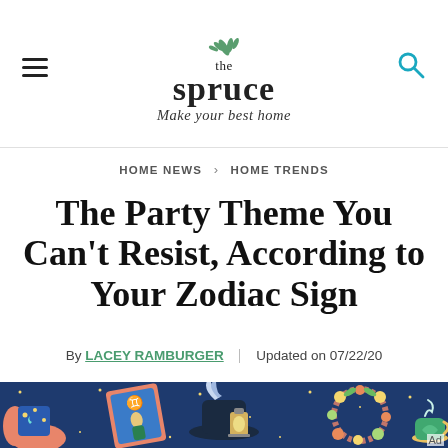the spruce — Make your best home
HOME NEWS > HOME TRENDS
The Party Theme You Can't Resist, According to Your Zodiac Sign
By LACEY RAMBURGER | Updated on 07/22/20
[Figure (illustration): Colorful illustrated banner featuring zodiac and party theme imagery on a dark blue background: hands holding a star-decorated cup with a crescent moon, tarot-style cards with Gemini symbol, a feathered hat with a lantern, a floral wreath, and a swirling teacup with stars.]